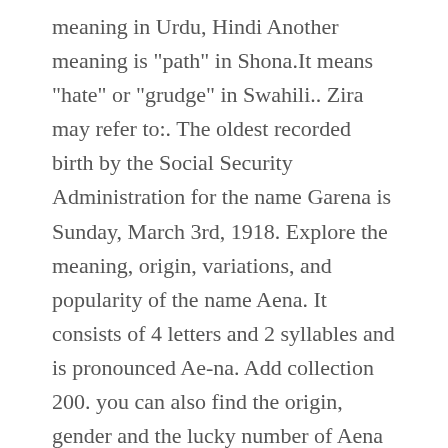meaning in Urdu, Hindi Another meaning is "path" in Shona.It means "hate" or "grudge" in Swahili.. Zira may refer to:. The oldest recorded birth by the Social Security Administration for the name Garena is Sunday, March 3rd, 1918. Explore the meaning, origin, variations, and popularity of the name Aena. It consists of 4 letters and 2 syllables and is pronounced Ae-na. Add collection 200. you can also find the origin, gender and the lucky number of Aena name here. People search this name as Dabbah. Girl This is the right time for girls to show their attitude to the arrogant boys through best attitude status for Girls.Here on this website you will get the top 100 Girls Attitude status for social media profiles like Facebook, Google+, Twitter, Instagram, WhatsApp Status, and much more. If you are looking for Aena name meaning in Urdu and English then you can find the complete detail of Aena name